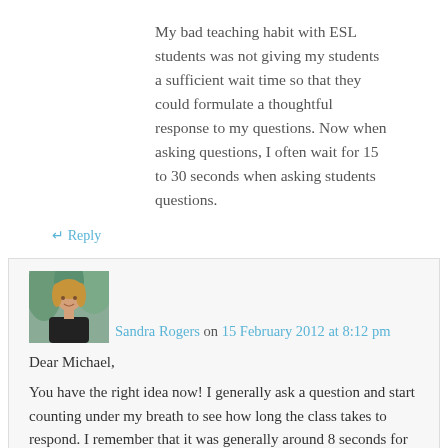My bad teaching habit with ESL students was not giving my students a sufficient wait time so that they could formulate a thoughtful response to my questions. Now when asking questions, I often wait for 15 to 30 seconds when asking students questions.
↵ Reply
[Figure (photo): Profile photo of Sandra Rogers, a woman with blonde hair wearing a dark jacket, with green foliage in the background]
Sandra Rogers on 15 February 2012 at 8:12 pm
Dear Michael,
You have the right idea now! I generally ask a question and start counting under my breath to see how long the class takes to respond. I remember that it was generally around 8 seconds for my students in Mozambique. It can depend upon the cultural aspects of your students or their individual personalities. As with heterogeneous groupings, you will have certain student groups who are